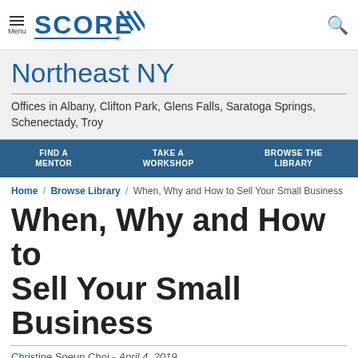Menu | SCORE | (search icon)
Northeast NY
Offices in Albany, Clifton Park, Glens Falls, Saratoga Springs, Schenectady, Troy
FIND A MENTOR | TAKE A WORKSHOP | BROWSE THE LIBRARY
Home / Browse Library / When, Why and How to Sell Your Small Business
When, Why and How to Sell Your Small Business
Christine Soeun Choi - April 4, 2019
[Figure (illustration): 4.5 star rating shown as green and grey stars]